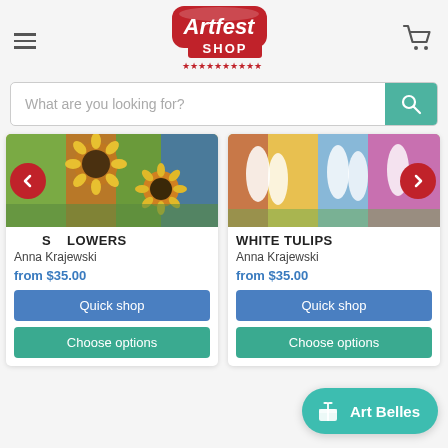[Figure (logo): Artfest Shop logo - red banner with white text 'Artfest' in large letters, 'SHOP' on a red rectangle below, and red stars beneath]
What are you looking for?
[Figure (photo): Sunflower painting by Anna Krajewski - colorful floral artwork]
SUNFLOWERS
Anna Krajewski
from $35.00
Quick shop
Choose options
[Figure (photo): White tulips painting by Anna Krajewski - colorful floral artwork]
WHITE TULIPS
Anna Krajewski
from $35.00
Quick shop
Choose options
Art Belles